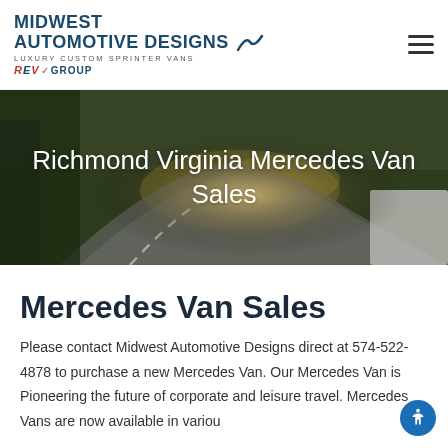MIDWEST AUTOMOTIVE DESIGNS — LUXURY CUSTOM SPRINTER VANS — REV GROUP
[Figure (photo): Aerial/motion-blur photo of a winding road through wooded area with a white van partially visible on the right side]
Richmond Virginia Mercedes Van Sales
Mercedes Van Sales
Please contact Midwest Automotive Designs direct at 574-522-4878 to purchase a new Mercedes Van. Our Mercedes Van is Pioneering the future of corporate and leisure travel. Mercedes Vans are now available in variou